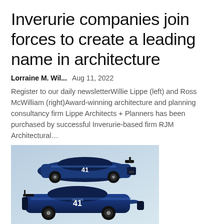Inverurie companies join forces to create a leading name in architecture
Lorraine M. Wil...    Aug 11, 2022
Register to our daily newsletterWillie Lippe (left) and Ross McWilliam (right)Award-winning architecture and planning consultancy firm Lippe Architects + Planners has been purchased by successful Inverurie-based firm RJM Architectural...
[Figure (photo): Two blue NASCAR race cars numbered 41 shown from rear-quarter and side angles against a light blue-grey background]